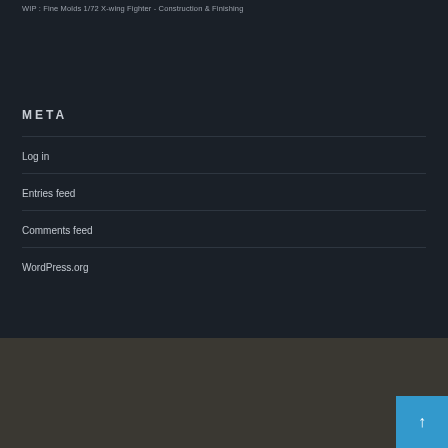WIP : Fine Molds 1/72 X-wing Fighter - Construction & Finishing
META
Log in
Entries feed
Comments feed
WordPress.org
RSS FEED
INSTAGRAM
PINTEREST